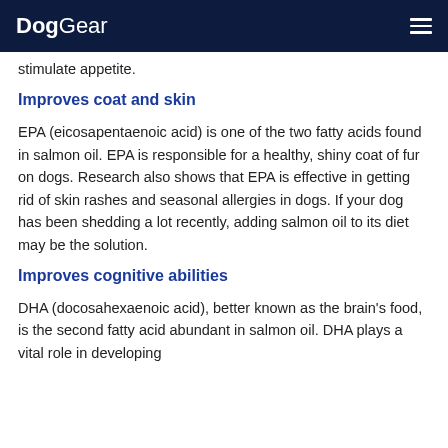DogGear
stimulate appetite.
Improves coat and skin
EPA (eicosapentaenoic acid) is one of the two fatty acids found in salmon oil. EPA is responsible for a healthy, shiny coat of fur on dogs. Research also shows that EPA is effective in getting rid of skin rashes and seasonal allergies in dogs. If your dog has been shedding a lot recently, adding salmon oil to its diet may be the solution.
Improves cognitive abilities
DHA (docosahexaenoic acid), better known as the brain's food, is the second fatty acid abundant in salmon oil. DHA plays a vital role in developing